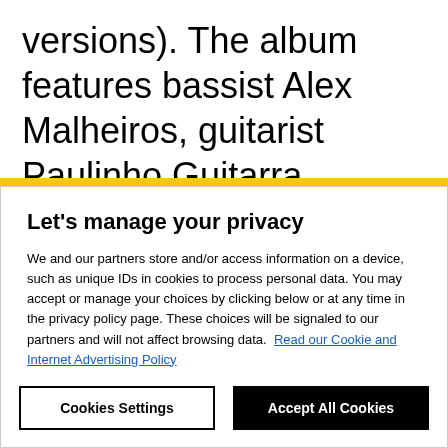versions). The album features bassist Alex Malheiros, guitarist Paulinho Guitarra, percussionist Armando Marçal, saxophonist Jessé Sadoc, and trombonist Aldivas Ayres. It is a jazzy funk boogie
Let's manage your privacy
We and our partners store and/or access information on a device, such as unique IDs in cookies to process personal data. You may accept or manage your choices by clicking below or at any time in the privacy policy page. These choices will be signaled to our partners and will not affect browsing data. Read our Cookie and Internet Advertising Policy